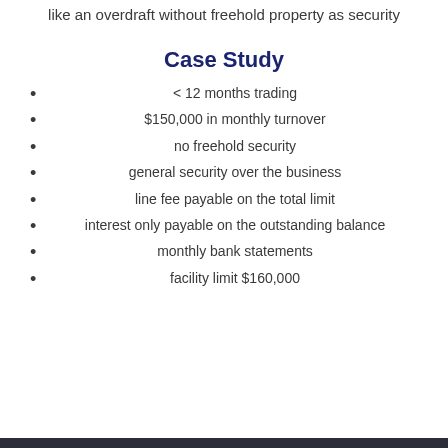like an overdraft without freehold property as security
Case Study
< 12 months trading
$150,000 in monthly turnover
no freehold security
general security over the business
line fee payable on the total limit
interest only payable on the outstanding balance
monthly bank statements
facility limit $160,000